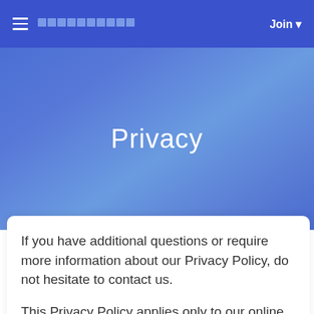Privacy
Privacy
If you have additional questions or require more information about our Privacy Policy, do not hesitate to contact us.
This Privacy Policy applies only to our online activities and is valid for visitors to our website with regards to the information that